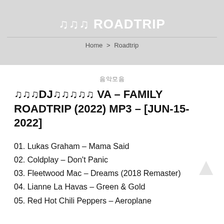🎵🎵🎵 ROADTRIP
Home > Roadtrip
음악모음
🎵🎵🎵DJ🎵🎵🎵🎵🎵 VA – FAMILY ROADTRIP (2022) MP3 – [JUN-15-2022]
01. Lukas Graham – Mama Said
02. Coldplay – Don't Panic
03. Fleetwood Mac – Dreams (2018 Remaster)
04. Lianne La Havas – Green & Gold
05. Red Hot Chili Peppers – Aeroplane